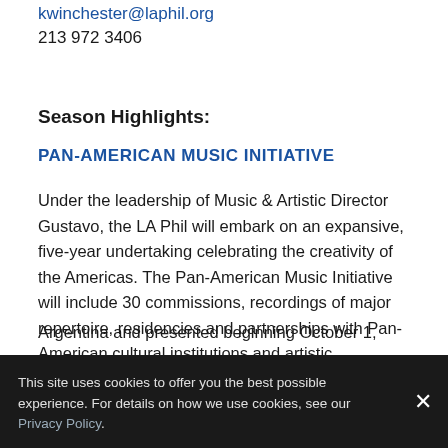kwinchester@laphil.org
213 972 3406
Season Highlights:
PAN-AMERICAN MUSIC INITIATIVE
Under the leadership of Music & Artistic Director Gustavo, the LA Phil will embark on an expansive, five-year undertaking celebrating the creativity of the Americas. The Pan-American Music Initiative will include 30 commissions, recordings of major repertoire, residencies and partnerships with Pan-American cultural institutions and artistic collaborations across all of the LA Phil's venues. With the inaugural year guest curated by Gabriela
Argentina and presented beginning October 1, [text cut off]
This site uses cookies to offer you the best possible experience. For details on how we use cookies, see our Privacy Policy.